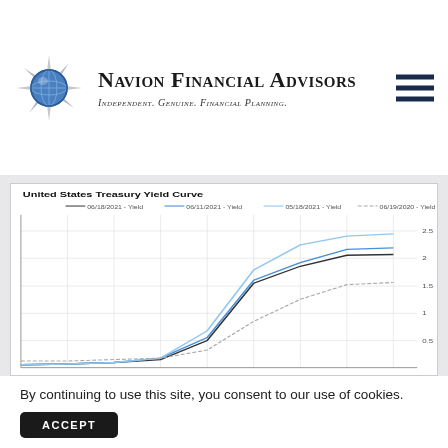Navion Financial Advisors — Independent. Genuine. Financial Planning.
[Figure (line-chart): United States Treasury Yield Curve]
By continuing to use this site, you consent to our use of cookies.